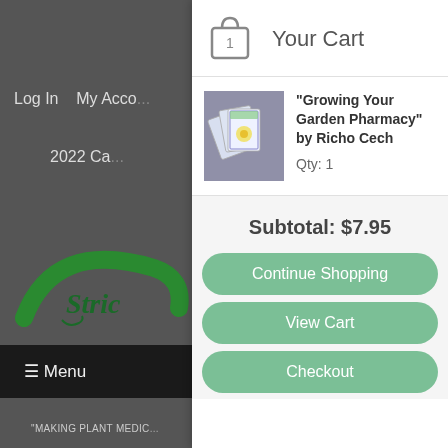Log In   My Acco...
2022 Ca...
Your Cart
[Figure (photo): Book covers of 'Growing Your Garden Pharmacy' seed packets fanned out]
"Growing Your Garden Pharmacy" by Richo Cech
Qty: 1
Subtotal: $7.95
Continue Shopping
View Cart
Checkout
≡ Menu
"MAKING PLANT MEDIC...